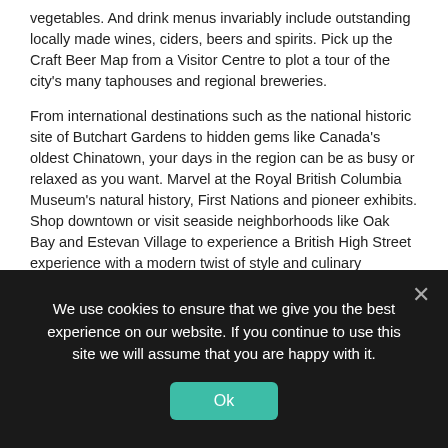vegetables. And drink menus invariably include outstanding locally made wines, ciders, beers and spirits. Pick up the Craft Beer Map from a Visitor Centre to plot a tour of the city's many taphouses and regional breweries.
From international destinations such as the national historic site of Butchart Gardens to hidden gems like Canada's oldest Chinatown, your days in the region can be as busy or relaxed as you want. Marvel at the Royal British Columbia Museum's natural history, First Nations and pioneer exhibits. Shop downtown or visit seaside neighborhoods like Oak Bay and Estevan Village to experience a British High Street experience with a modern twist of style and culinary expertise.
Many visitors unpack at once to wander the city at their own leisure. Other visitors balance the urban pleasures with daytrip excursions. Head north into Saanich for a roadtrip tour of farms and wineries, stopping for a waterside lunch in Brentwood Bay, a visit to one of Canada's most beloved public gardens or a tour of Sidney's many book stores and unique boutiques.
The South Island invites spontaneity and unplanned agendas. Although it's the
We use cookies to ensure that we give you the best experience on our website. If you continue to use this site we will assume that you are happy with it.